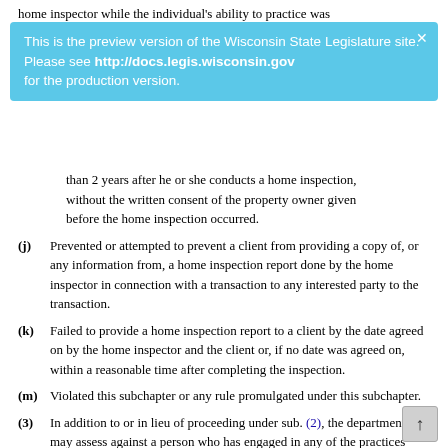home inspector while the individual's ability to practice was
This is the preview version of the Wisconsin State Legislature site. Please see http://docs.legis.wisconsin.gov for the production version.
than 2 years after he or she conducts a home inspection, without the written consent of the property owner given before the home inspection occurred.
(j) Prevented or attempted to prevent a client from providing a copy of, or any information from, a home inspection report done by the home inspector in connection with a transaction to any interested party to the transaction.
(k) Failed to provide a home inspection report to a client by the date agreed on by the home inspector and the client or, if no date was agreed on, within a reasonable time after completing the inspection.
(m) Violated this subchapter or any rule promulgated under this subchapter.
(3) In addition to or in lieu of proceeding under sub. (2), the department may assess against a person who has engaged in any of the practices specified in sub. (2) a forfeiture of not more than $1,000 for each separate offense.
(5) The department may, as a condition of removing a limitation